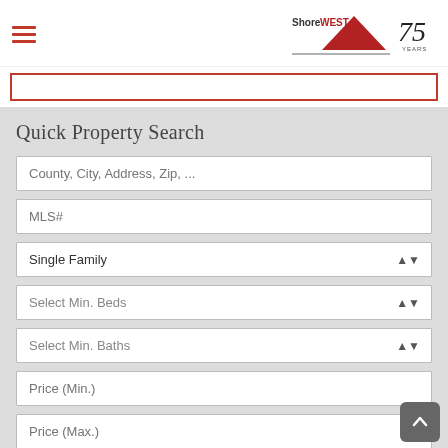ShoreWEST 75 YEARS
Quick Property Search
County, City, Address, Zip, ...
MLS#
Single Family
Select Min. Beds
Select Min. Baths
Price (Min.)
Price (Max.)
Search Properties